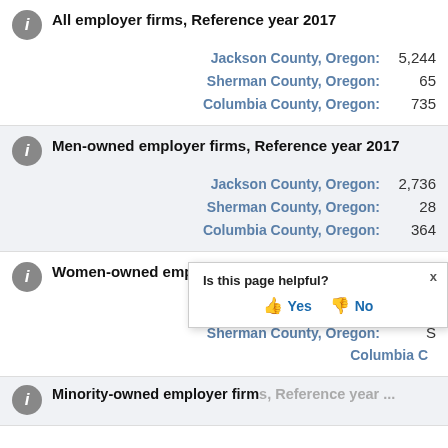All employer firms, Reference year 2017
Jackson County, Oregon: 5,244
Sherman County, Oregon: 65
Columbia County, Oregon: 735
Men-owned employer firms, Reference year 2017
Jackson County, Oregon: 2,736
Sherman County, Oregon: 28
Columbia County, Oregon: 364
Women-owned employer firms, Reference year 2017
Jackson County, Oregon: 909
Sherman County, Oregon: S
Columbia County, Oregon: (partial)
Minority-owned employer firms, Reference year ...